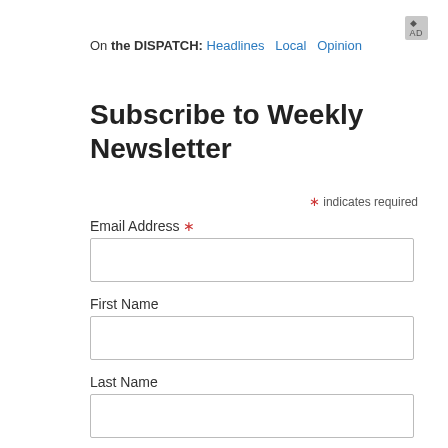AD
On the DISPATCH: Headlines  Local  Opinion
Subscribe to Weekly Newsletter
* indicates required
Email Address *
First Name
Last Name
Birthday
( mm / dd ) [ALL INFO CONFIDENTIAL]